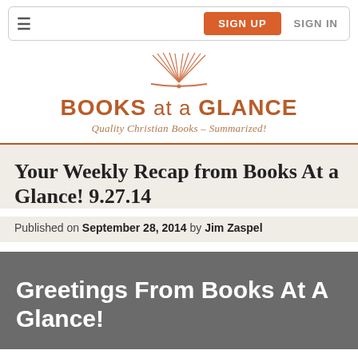≡  SIGN UP  SIGN IN
[Figure (logo): Books at a Glance logo with open book icon and tagline 'Quality Christian Books - Summarized!']
Your Weekly Recap from Books At a Glance! 9.27.14
Published on September 28, 2014 by Jim Zaspel
Greetings From Books At A Glance!